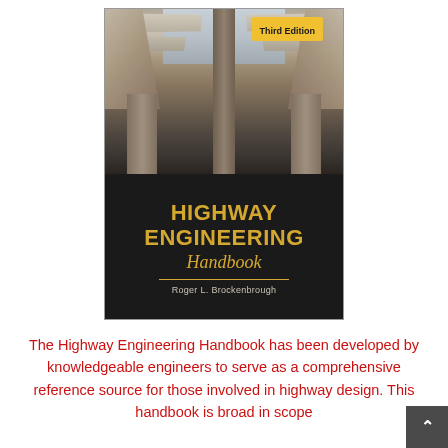[Figure (photo): Book cover of 'Highway Engineering Handbook, Third Edition' by Roger L. Brockenbrough. Top half shows a photograph of highway overpass concrete pillars and beams viewed from below. Bottom half is dark background with golden title text 'HIGHWAY ENGINEERING Handbook' and author name. A yellow 'Third Edition' badge appears in the upper right corner of the cover.]
The Highway Engineering Handbook has been developed by knowledgeable engineers to serve as a comprehensive reference source for those involved in highway design. This handbook is broad in scope